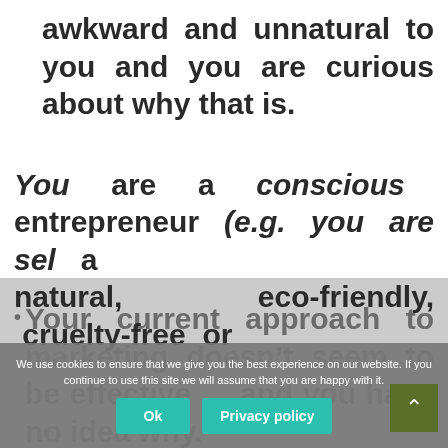awkward and unnatural to you and you are curious about why that is.
Your current approach to marketing doesn't seem to be effective … and you have no idea why.
You are a conscious entrepreneur (e.g. you are sel a natural, eco-friendly, cruelty-free or
We use cookies to ensure that we give you the best experience on our website. If you continue to use this site we will assume that you are happy with it.